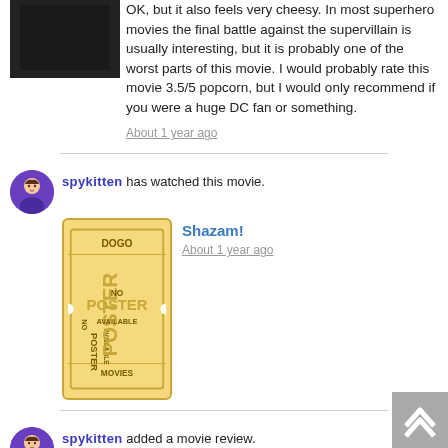[Figure (photo): Dark movie scene thumbnail at top left]
OK, but it also feels very cheesy. In most superhero movies the final battle against the supervillain is usually interesting, but it is probably one of the worst parts of this movie. I would probably rate this movie 3.5/5 popcorn, but I would only recommend if you were a huge DC fan or something.
About 1 year ago
spykitten has watched this movie.
Shazam!
About 1 year ago
[Figure (photo): DOGO Movies No Poster Available ticket placeholder image]
spykitten added a movie review.
Guardians of the Galaxy Vol. 2
[Figure (photo): Guardians of the Galaxy Vol. 2 movie poster]
"I am Groot." - Groot. First of all, this movie is amazing! It has great characters and a great plot. Baby Groot is very cute and awesome and the number one reason why you should watch it. I like how one the new characters that they meet, who is pretending to be nice, is actually evil. It also made Yondu, who I didn't really like very much in Vol. 1, a lot more likable